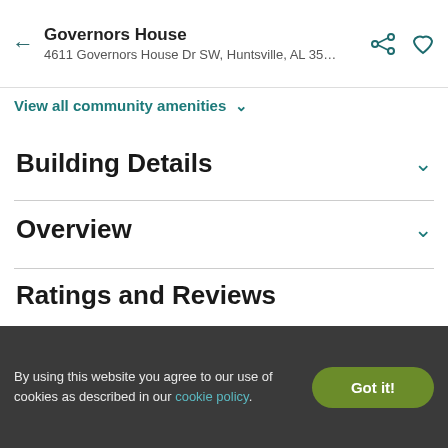Governors House
4611 Governors House Dr SW, Huntsville, AL 35…
View all community amenities ▾
Building Details
Overview
Ratings and Reviews
How would you rate this property?
By using this website you agree to our use of cookies as described in our cookie policy.